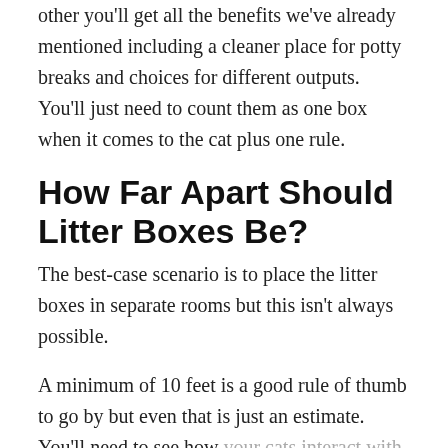Not necessarily, by placing two litter boxes next to each other you'll get all the benefits we've already mentioned including a cleaner place for potty breaks and choices for different outputs. You'll just need to count them as one box when it comes to the cat plus one rule.
How Far Apart Should Litter Boxes Be?
The best-case scenario is to place the litter boxes in separate rooms but this isn't always possible.
A minimum of 10 feet is a good rule of thumb to go by but even that is just an estimate. You'll need to see how your cats interact with their boxes to really see what